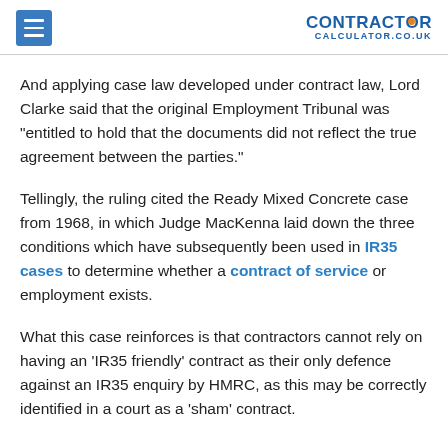CONTRACTOR CALCULATOR.CO.UK
And applying case law developed under contract law, Lord Clarke said that the original Employment Tribunal was "entitled to hold that the documents did not reflect the true agreement between the parties."
Tellingly, the ruling cited the Ready Mixed Concrete case from 1968, in which Judge MacKenna laid down the three conditions which have subsequently been used in IR35 cases to determine whether a contract of service or employment exists.
What this case reinforces is that contractors cannot rely on having an 'IR35 friendly' contract as their only defence against an IR35 enquiry by HMRC, as this may be correctly identified in a court as a 'sham' contract.